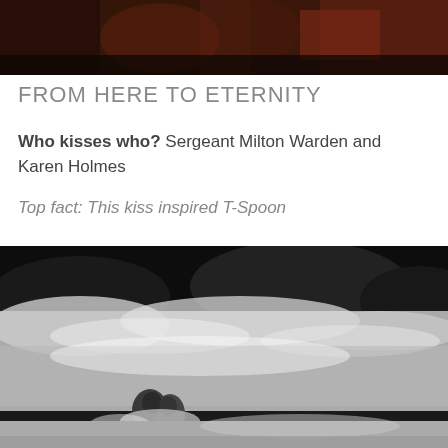[Figure (photo): Close-up photo of two people kissing, warm tones, partial view]
FROM HERE TO ETERNITY
Who kisses who? Sergeant Milton Warden and Karen Holmes
Top fact: This kiss inspired T-Spoon
(that fact may not be true)
[Figure (photo): Black and white photo of two people kissing on a beach with waves crashing around them, iconic scene from From Here to Eternity]